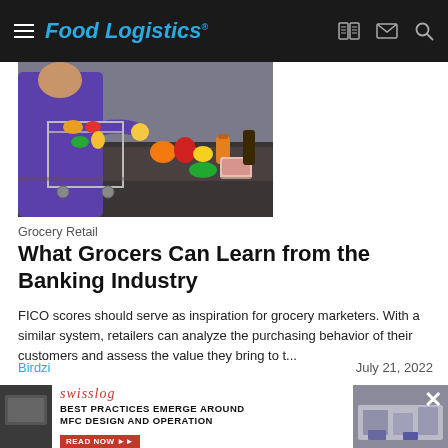Food Logistics
[Figure (photo): Person in purple shirt with grocery cart full of colorful produce at a checkout counter, items on conveyor belt including fruits, vegetables, and beverages]
Grocery Retail
What Grocers Can Learn from the Banking Industry
FICO scores should serve as inspiration for grocery marketers. With a similar system, retailers can analyze the purchasing behavior of their customers and assess the value they bring to t...
Birdzi                               July 21, 2022
[Figure (screenshot): Swisslog advertisement banner: 'BEST PRACTICES EMERGE AROUND MFC DESIGN AND OPERATION' with READ NOW button]